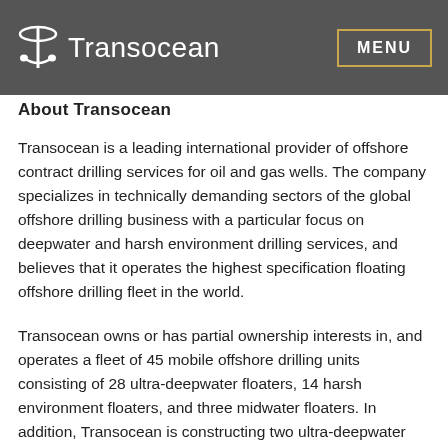Transocean
About Transocean
Transocean is a leading international provider of offshore contract drilling services for oil and gas wells. The company specializes in technically demanding sectors of the global offshore drilling business with a particular focus on deepwater and harsh environment drilling services, and believes that it operates the highest specification floating offshore drilling fleet in the world.
Transocean owns or has partial ownership interests in, and operates a fleet of 45 mobile offshore drilling units consisting of 28 ultra-deepwater floaters, 14 harsh environment floaters, and three midwater floaters. In addition, Transocean is constructing two ultra-deepwater drillships.